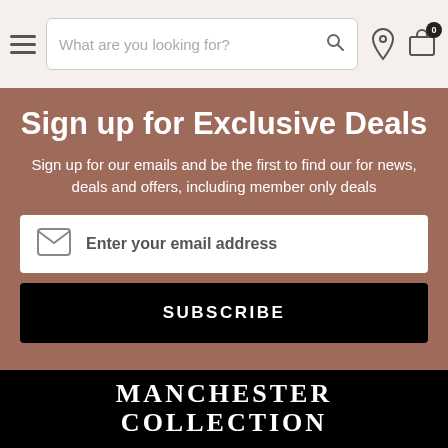Navigation bar with hamburger menu, search field 'What are you looking for?', location icon, and cart icon with badge 0
Sign up for Exclusive Deals
Sign up for our emails and be the first to find our for news, deals and offers, including member only deals
Enter your email address
SUBSCRIBE
MANCHESTER COLLECTION